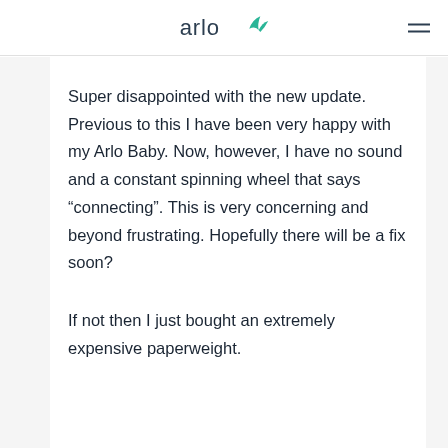arlo
Super disappointed with the new update. Previous to this I have been very happy with my Arlo Baby. Now, however, I have no sound and a constant spinning wheel that says “connecting”. This is very concerning and beyond frustrating. Hopefully there will be a fix soon?
If not then I just bought an extremely expensive paperweight.